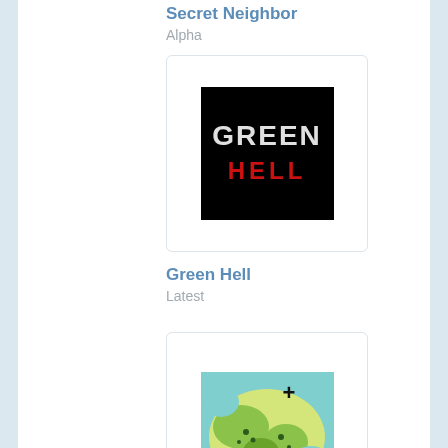Secret Neighbor
Alpha
[Figure (illustration): Green Hell game cover art: black background with 'GREEN' in white distressed text and 'HELL' in red distressed text below]
Green Hell
Latest
[Figure (illustration): Simmiland game cover art: colorful top-down map view with teal water, sandy land, tiny trees and characters, with a plus symbol and 'simmiland' text overlay]
Simmiland
1.3.2